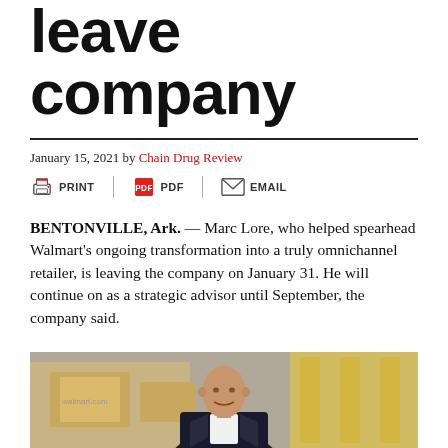leave company
January 15, 2021 by Chain Drug Review
[Figure (infographic): Share/action bar with PRINT, PDF, and EMAIL icons]
BENTONVILLE, Ark. — Marc Lore, who helped spearhead Walmart's ongoing transformation into a truly omnichannel retailer, is leaving the company on January 31. He will continue on as a strategic advisor until September, the company said.
[Figure (photo): Photo of a bald man in a dark suit smiling with Walmart shipping boxes visible in the background]